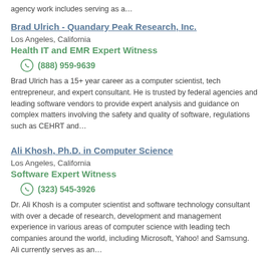agency work includes serving as a…
Brad Ulrich - Quandary Peak Research, Inc.
Los Angeles, California
Health IT and EMR Expert Witness
(888) 959-9639
Brad Ulrich has a 15+ year career as a computer scientist, tech entrepreneur, and expert consultant. He is trusted by federal agencies and leading software vendors to provide expert analysis and guidance on complex matters involving the safety and quality of software, regulations such as CEHRT and…
Ali Khosh, Ph.D. in Computer Science
Los Angeles, California
Software Expert Witness
(323) 545-3926
Dr. Ali Khosh is a computer scientist and software technology consultant with over a decade of research, development and management experience in various areas of computer science with leading tech companies around the world, including Microsoft, Yahoo! and Samsung. Ali currently serves as an…